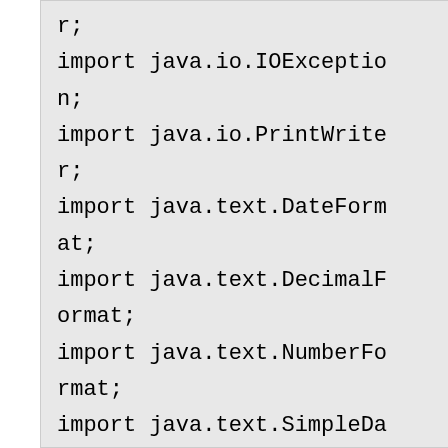r;
import java.io.IOException;
import java.io.PrintWriter;
import java.text.DateFormat;
import java.text.DecimalFormat;
import java.text.NumberFormat;
import java.text.SimpleDateFormat;
import java.util.ArrayList;
import java.util.Calendar;
import java.util.Collecti